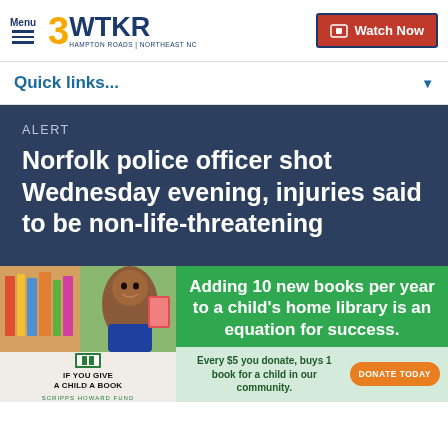Menu | 3WTKR Hampton Roads | Northeast NC | Watch Now
Quick links...
ALERT
Norfolk police officer shot Wednesday evening, injuries said to be non-life-threatening
[Figure (infographic): Advertisement for 'If You Give A Child A Book' by Scripps Howard Fund. Shows a smiling child with books on a green and orange background. Text: 'Adding 10 new books per year to a child's home library is an equation for success.' Bottom bar: 'Every $5 you donate, buys 1 book for a child in our community.' with a 'DONATE TODAY' button.]